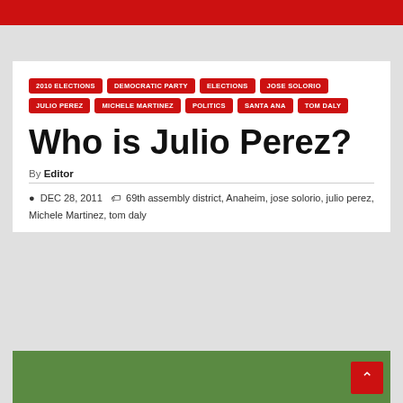2010 ELECTIONS
DEMOCRATIC PARTY
ELECTIONS
JOSE SOLORIO
JULIO PEREZ
MICHELE MARTINEZ
POLITICS
SANTA ANA
TOM DALY
Who is Julio Perez?
By Editor
DEC 28, 2011   69th assembly district, Anaheim, jose solorio, julio perez, Michele Martinez, tom daly
[Figure (photo): Green foliage/landscape photo at bottom]